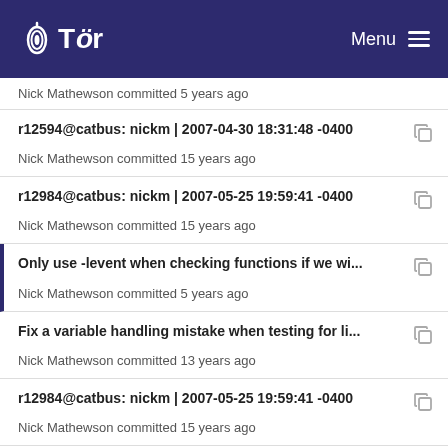Tor | Menu
Nick Mathewson committed 5 years ago
r12594@catbus: nickm | 2007-04-30 18:31:48 -0400
Nick Mathewson committed 15 years ago
r12984@catbus: nickm | 2007-05-25 19:59:41 -0400
Nick Mathewson committed 15 years ago
Only use -levent when checking functions if we wi...
Nick Mathewson committed 5 years ago
Fix a variable handling mistake when testing for li...
Nick Mathewson committed 13 years ago
r12984@catbus: nickm | 2007-05-25 19:59:41 -0400
Nick Mathewson committed 15 years ago
Update Tor to use Libevent 2.0 APIs when available.
Nick Mathewson committed 13 years ago
Fix libevent linking on openbsd.
Nick Mathewson committed 5 years ago